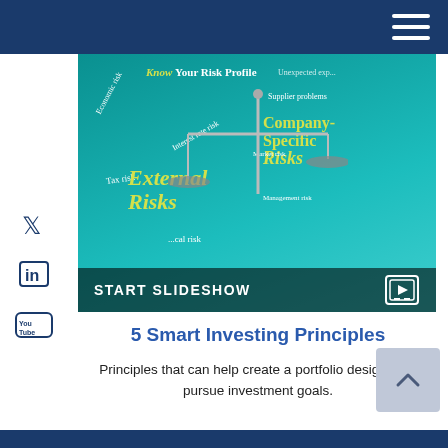[Figure (screenshot): A tablet screen showing a risk profile infographic with a balance scale, text labels: Know Your Risk Profile, External Risks (Economic risk, Tax risk, Interest rate risk, Local risk), Company-Specific Risks (Supplier problems, Unexpected expenses), with a START SLIDESHOW button overlay at bottom.]
5 Smart Investing Principles
Principles that can help create a portfolio designed to pursue investment goals.